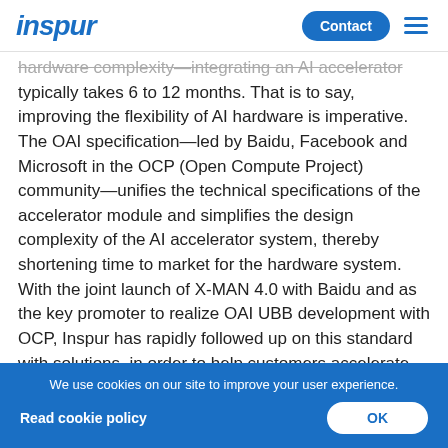inspur | Contact
hardware complexity—integrating an AI accelerator typically takes 6 to 12 months. That is to say, improving the flexibility of AI hardware is imperative. The OAI specification—led by Baidu, Facebook and Microsoft in the OCP (Open Compute Project) community—unifies the technical specifications of the accelerator module and simplifies the design complexity of the AI accelerator system, thereby shortening time to market for the hardware system. With the joint launch of X-MAN 4.0 with Baidu and as the key promoter to realize OAI UBB development with OCP, Inspur has rapidly followed up on this standard with solutions, in order to help customers accelerate business innovation.
We use cookies on our site to improve your user experience.
Read cookie policy
OK